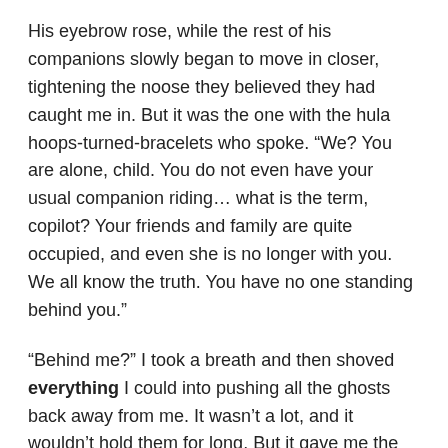His eyebrow rose, while the rest of his companions slowly began to move in closer, tightening the noose they believed they had caught me in. But it was the one with the hula hoops-turned-bracelets who spoke. “We? You are alone, child. You do not even have your usual companion riding… what is the term, copilot? Your friends and family are quite occupied, and even she is no longer with you. We all know the truth. You have no one standing behind you.”
“Behind me?” I took a breath and then shoved everything I could into pushing all the ghosts back away from me. It wasn’t a lot, and it wouldn’t hold them for long. But it gave me the time I needed to speak. “Nah, I’ve got no one behind me. But you guys might want to look behind you.”